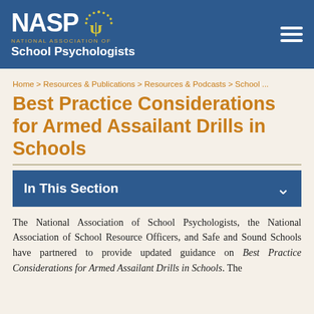NASP — National Association of School Psychologists
Home > Resources & Publications > Resources & Podcasts > School ...
Best Practice Considerations for Armed Assailant Drills in Schools
In This Section
The National Association of School Psychologists, the National Association of School Resource Officers, and Safe and Sound Schools have partnered to provide updated guidance on Best Practice Considerations for Armed Assailant Drills in Schools. The